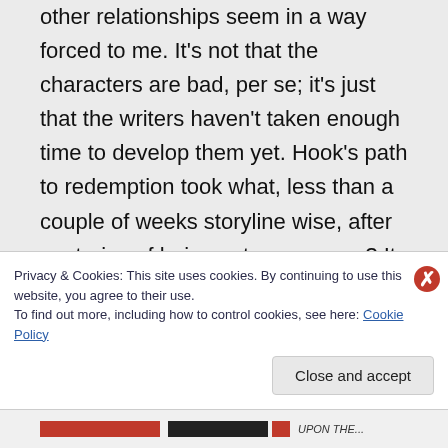other relationships seem in a way forced to me. It's not that the characters are bad, per se; it's just that the writers haven't taken enough time to develop them yet. Hook's path to redemption took what, less than a couple of weeks storyline wise, after centuries of being set on revenge? It seemed quite rushed when compared to all the struggles Regina went through
Privacy & Cookies: This site uses cookies. By continuing to use this website, you agree to their use.
To find out more, including how to control cookies, see here: Cookie Policy
Close and accept